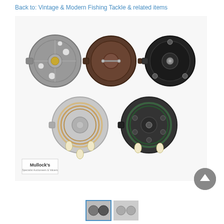Back to: Vintage & Modern Fishing Tackle & related items
[Figure (photo): Five vintage fishing reels arranged on a white background. Top row: three reels (silver open-face fly reel, brown/dark reel, black reel). Bottom row: two reels (silver/clear reel with line loaded and cream handles, black reel with green line and cream handles). Mullock's auction house watermark in bottom left corner.]
[Figure (photo): Thumbnail images of fishing reels at bottom of page — one selected (active, blue border) and one beside it.]